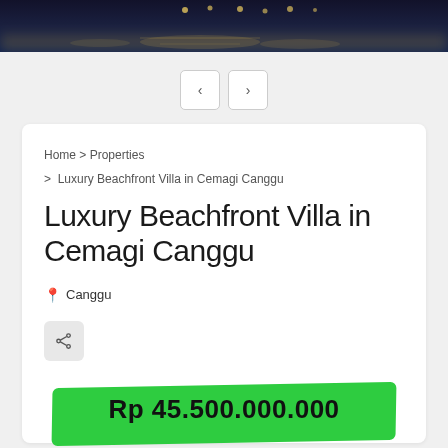[Figure (photo): Dark nighttime image of a waterfront or pool area with lights reflected on water, used as a header/banner image at the top of the page.]
‹ ›
Home > Properties
> Luxury Beachfront Villa in Cemagi Canggu
Luxury Beachfront Villa in Cemagi Canggu
📍 Canggu
Rp 45.500.000.000